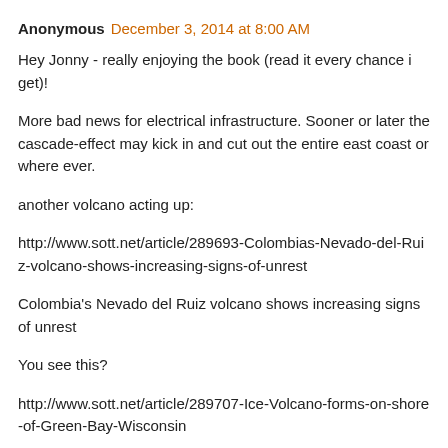Anonymous December 3, 2014 at 8:00 AM
Hey Jonny - really enjoying the book (read it every chance i get)!
More bad news for electrical infrastructure. Sooner or later the cascade-effect may kick in and cut out the entire east coast or where ever.
another volcano acting up:
http://www.sott.net/article/289693-Colombias-Nevado-del-Ruiz-volcano-shows-increasing-signs-of-unrest
Colombia's Nevado del Ruiz volcano shows increasing signs of unrest
You see this?
http://www.sott.net/article/289707-Ice-Volcano-forms-on-shore-of-Green-Bay-Wisconsin